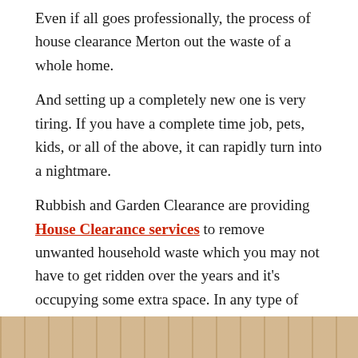Even if all goes professionally, the process of house clearance Merton out the waste of a whole home.
And setting up a completely new one is very tiring. If you have a complete time job, pets, kids, or all of the above, it can rapidly turn into a nightmare.
Rubbish and Garden Clearance are providing House Clearance services to remove unwanted household waste which you may not have to get ridden over the years and it's occupying some extra space. In any type of job, we professionally do our work to fulfill our customer's requirements.
[Figure (photo): Partial view of a photo at the bottom of the page, showing warm tones, likely a house clearance or home interior scene.]